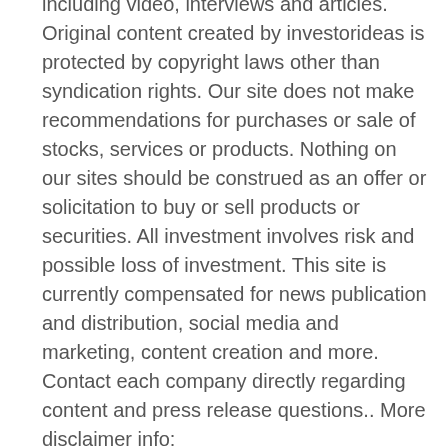including video, interviews and articles. Original content created by investorideas is protected by copyright laws other than syndication rights. Our site does not make recommendations for purchases or sale of stocks, services or products. Nothing on our sites should be construed as an offer or solicitation to buy or sell products or securities. All investment involves risk and possible loss of investment. This site is currently compensated for news publication and distribution, social media and marketing, content creation and more. Contact each company directly regarding content and press release questions.. More disclaimer info: http://www.investorideas.com/About/Disclaimer.asp. This article is a third party guest post published content and not the content of Investorideas.com . Learn more about posting your articles at http://www.investorideas.com/Advertise/ Please read Investorideas.com privacy